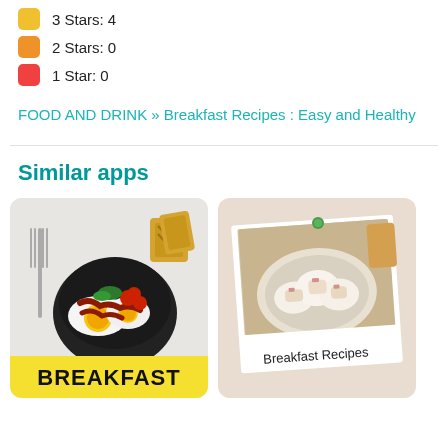3 Stars: 4
2 Stars: 0
1 Star: 0
FOOD AND DRINK » Breakfast Recipes : Easy and Healthy
Similar apps
[Figure (photo): Breakfast app icon showing eggs, bacon, toast, and vegetables in a black bowl with the word BREAKFAST at the bottom]
[Figure (photo): Breakfast Recipes app icon showing a polaroid-style photo of egg muffins on a plate with text Breakfast Recipes]